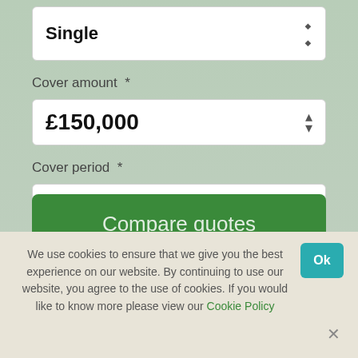Single
Cover amount *
£150,000
Cover period *
25 years
Compare quotes
We use cookies to ensure that we give you the best experience on our website. By continuing to use our website, you agree to the use of cookies. If you would like to know more please view our Cookie Policy